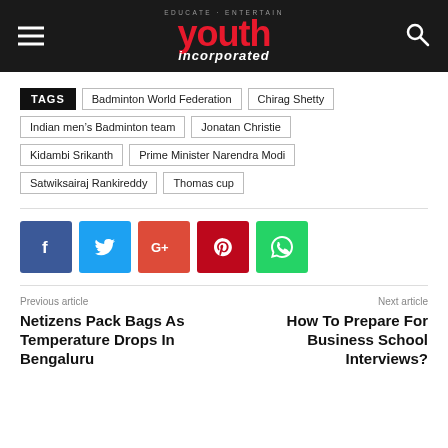Youth Incorporated — EDUCATE · ENTERTAIN
TAGS: Badminton World Federation, Chirag Shetty, Indian men's Badminton team, Jonatan Christie, Kidambi Srikanth, Prime Minister Narendra Modi, Satwiksairaj Rankireddy, Thomas cup
[Figure (other): Social sharing buttons: Facebook (blue), Twitter (light blue), Google+ (red-orange), Pinterest (dark red), WhatsApp (green)]
Previous article
Netizens Pack Bags As Temperature Drops In Bengaluru
Next article
How To Prepare For Business School Interviews?